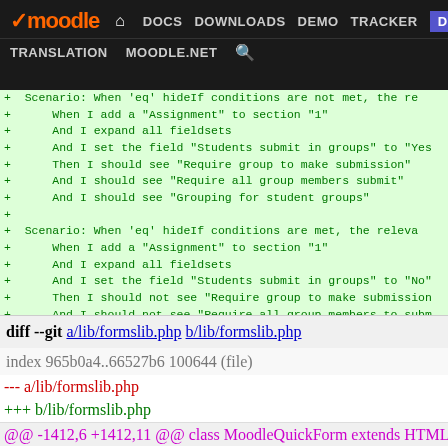moodle DOCS DOWNLOADS DEMO TRACKER DEV TRANSLATION MOODLE.NET
+ Scenario: When 'eq' hideIf conditions are not met, the re
+     When I add a "Assignment" to section "1"
+     And I expand all fieldsets
+     And I set the field "Students submit in groups" to "Yes
+     Then I should see "Require group to make submission"
+     And I should see "Require all group members submit"
+     And I should see "Grouping for student groups"
+
+  Scenario: When 'eq' hideIf conditions are met, the releva
+     When I add a "Assignment" to section "1"
+     And I expand all fieldsets
+     And I set the field "Students submit in groups" to "No"
+     Then I should not see "Require group to make submission
+     And I should not see "Require all group members to subm
+     And I should not see "Grouping for student groups"
diff --git a/lib/formslib.php b/lib/formslib.php
index 965b0a4..66527b6 100644 (file)
--- a/lib/formslib.php
+++ b/lib/formslib.php
@@ -1412,6 +1412,11 @@ class MoodleQuickForm extends HTML_Qu
        /** @var array dependent state for the element/s */
        var $_dependencies = array();

+      /**
+        * S...